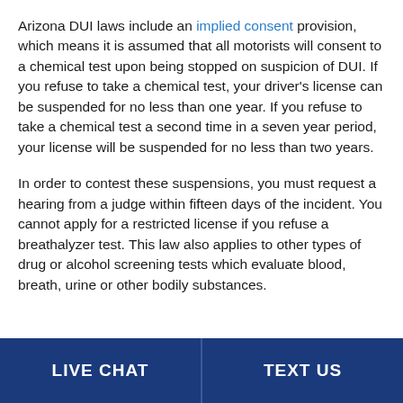Arizona DUI laws include an implied consent provision, which means it is assumed that all motorists will consent to a chemical test upon being stopped on suspicion of DUI. If you refuse to take a chemical test, your driver's license can be suspended for no less than one year. If you refuse to take a chemical test a second time in a seven year period, your license will be suspended for no less than two years.
In order to contest these suspensions, you must request a hearing from a judge within fifteen days of the incident. You cannot apply for a restricted license if you refuse a breathalyzer test. This law also applies to other types of drug or alcohol screening tests which evaluate blood, breath, urine or other bodily substances.
LIVE CHAT   TEXT US